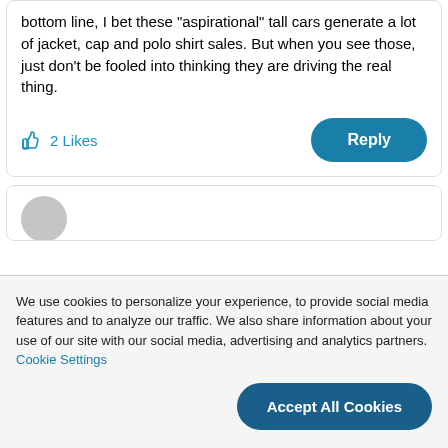bottom line, I bet these “aspirational” tall cars generate a lot of jacket, cap and polo shirt sales. But when you see those, just don’t be fooled into thinking they are driving the real thing.
2 Likes
Reply
We use cookies to personalize your experience, to provide social media features and to analyze our traffic. We also share information about your use of our site with our social media, advertising and analytics partners. Cookie Settings
Accept All Cookies